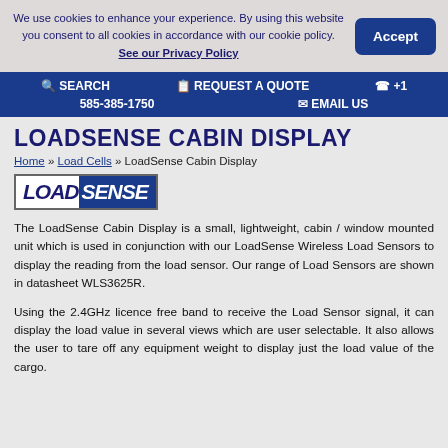We use cookies to enhance your experience. By using this website you consent to all cookies in accordance with our cookie policy. See our Privacy Policy
🔍 SEARCH   📋 REQUEST A QUOTE   ☎ +1
585-385-1750   ✉ EMAIL US
LOADSENSE CABIN DISPLAY
Home » Load Cells » LoadSense Cabin Display
[Figure (logo): LoadSense logo: LOAD in white on white background with italic bold text, SENSE in white on dark blue background, both italic bold, enclosed in a rectangular border.]
The LoadSense Cabin Display is a small, lightweight, cabin / window mounted unit which is used in conjunction with our LoadSense Wireless Load Sensors to display the reading from the load sensor. Our range of Load Sensors are shown in datasheet WLS3625R.
Using the 2.4GHz licence free band to receive the Load Sensor signal, it can display the load value in several views which are user selectable. It also allows the user to tare off any equipment weight to display just the load value of the cargo.